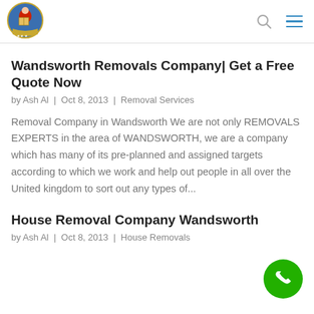[Figure (logo): Removals Expert circular logo with person carrying box, in blue and red, with gold banner]
Wandsworth Removals Company| Get a Free Quote Now
by Ash Al | Oct 8, 2013 | Removal Services
Removal Company in Wandsworth We are not only REMOVALS EXPERTS in the area of WANDSWORTH, we are a company which has many of its pre-planned and assigned targets according to which we work and help out people in all over the United kingdom to sort out any types of...
House Removal Company Wandsworth
by Ash Al | Oct 8, 2013 | House Removals